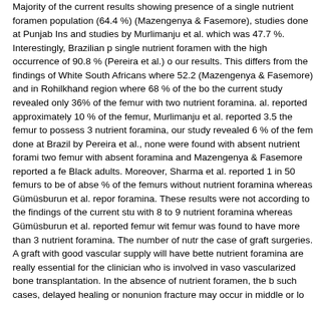Majority of the current results showing presence of a single nutrient foramen population (64.4 %) (Mazengenya & Fasemore), studies done at Punjab Ins and studies by Murlimanju et al. which was 47.7 %. Interestingly, Brazilian p single nutrient foramen with the high occurrence of 90.8 % (Pereira et al.) o our results. This differs from the findings of White South Africans where 52.2 (Mazengenya & Fasemore) and in Rohilkhand region where 68 % of the bo the current study revealed only 36% of the femur with two nutrient foramina. al. reported approximately 10 % of the femur, Murlimanju et al. reported 3.5 the femur to possess 3 nutrient foramina, our study revealed 6 % of the fem done at Brazil by Pereira et al., none were found with absent nutrient forami two femur with absent foramina and Mazengenya & Fasemore reported a fe Black adults. Moreover, Sharma et al. reported 1 in 50 femurs to be of abse % of the femurs without nutrient foramina whereas Gümüsburun et al. repor foramina. These results were not according to the findings of the current stu with 8 to 9 nutrient foramina whereas Gümüsburun et al. reported femur wit femur was found to have more than 3 nutrient foramina. The number of nutr the case of graft surgeries. A graft with good vascular supply will have bette nutrient foramina are really essential for the clinician who is involved in vaso vascularized bone transplantation. In the absence of nutrient foramen, the b such cases, delayed healing or nonunion fracture may occur in middle or lo
In the present study, majority of nutrient foramina (38 %) were found to be l findings of Sendermir & Cimen, Kizilkanat et al., Murlimanju et al. and Collipa of the nutrient foramina (58.9 %) were located on the medial lip of linea asp of the study were on the posterior side of the femur, which was similar to res African Black population (82.7 %) and in South African White population (79 foramina is necessary in order to prevent intraoperative injuries during ortho
Diameter of majority of foramina (44 %) of the present study were estimated 20 needle), which was comparable to results from Karnataka, India where